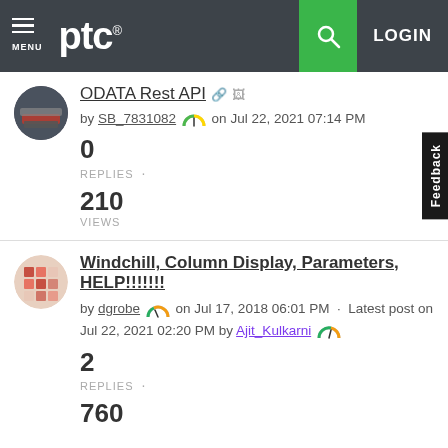PTC — MENU | LOGIN
ODATA Rest API
by SB_7831082 on Jul 22, 2021 07:14 PM
0
REPLIES
210
VIEWS
Windchill, Column Display, Parameters, HELP!!!!!!!
by dgrobe on Jul 17, 2018 06:01 PM · Latest post on Jul 22, 2021 02:20 PM by Ajit_Kulkarni
2
REPLIES
760